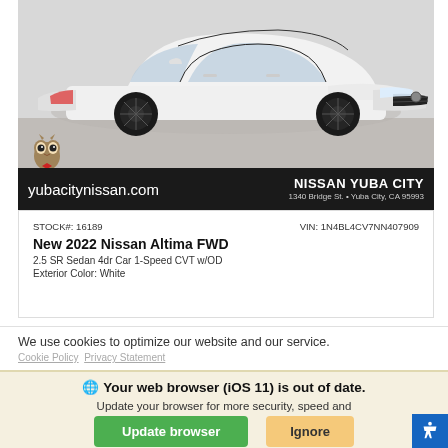[Figure (photo): White Nissan Altima sedan, front three-quarter view, on a light grey background. The car has black alloy wheels and a sporty SR trim appearance.]
yubacitynissan.com
NISSAN YUBA CITY
1340 Bridge St. • Yuba City, CA 95993
STOCK#: 16189
VIN: 1N4BL4CV7NN407909
New 2022 Nissan Altima FWD
2.5 SR Sedan 4dr Car 1-Speed CVT w/OD
Exterior Color: White
We use cookies to optimize our website and our service.
Cookie Policy   Privacy Statement
Your web browser (iOS 11) is out of date.
Update your browser for more security, speed and the best experience on this site.
Update browser
Ignore